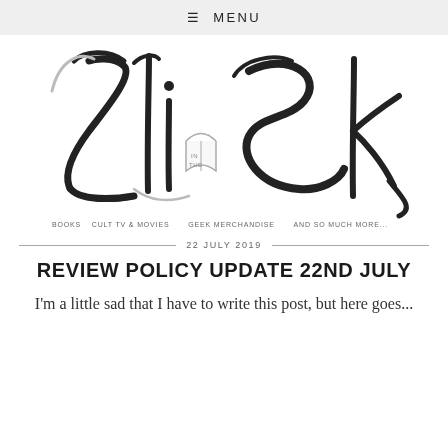≡ MENU
[Figure (logo): Zili in the Sky blog logo in decorative calligraphy script with an open book icon between 'Lili' and 'Sky']
BOOKS   CULT TV & MOVIES   GEEK MERCHANDISE   AND SO MUCH MORE...
22 JULY 2019
REVIEW POLICY UPDATE 22ND JULY
I'm a little sad that I have to write this post, but here goes...